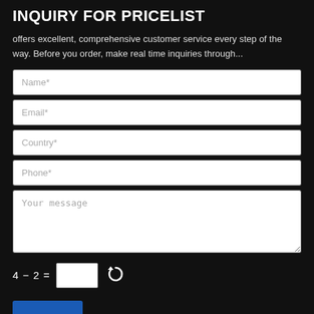INQUIRY FOR PRICELIST
offers excellent, comprehensive customer service every step of the way. Before you order, make real time inquiries through...
[Figure (screenshot): Web contact form with input fields for Name*, Email*, Country*, Phone*, Your message, a CAPTCHA math question (4 - 2 = [ ]) with a refresh icon, and a blue submit button.]